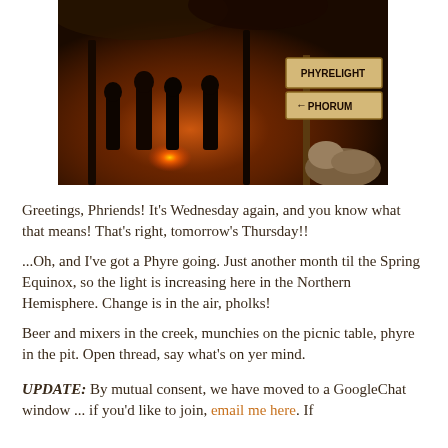[Figure (photo): Nighttime outdoor fire scene with silhouettes of people around a fire, orange and amber tones. A wooden sign on the right reads 'PHYRELIGHT PHORUM' with an arrow pointing left.]
Greetings, Phriends! It's Wednesday again, and you know what that means! That's right, tomorrow's Thursday!!
...Oh, and I've got a Phyre going. Just another month til the Spring Equinox, so the light is increasing here in the Northern Hemisphere. Change is in the air, pholks!
Beer and mixers in the creek, munchies on the picnic table, phyre in the pit. Open thread, say what's on yer mind.
UPDATE: By mutual consent, we have moved to a GoogleChat window ... if you'd like to join, email me here. If